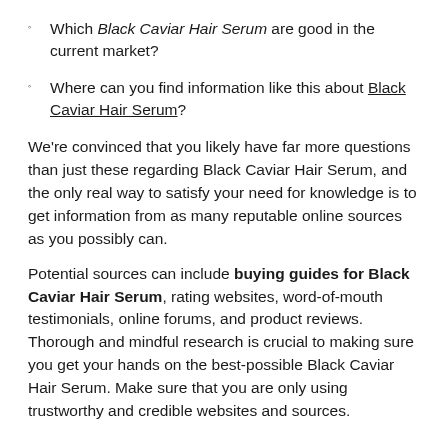Which Black Caviar Hair Serum are good in the current market?
Where can you find information like this about Black Caviar Hair Serum?
We're convinced that you likely have far more questions than just these regarding Black Caviar Hair Serum, and the only real way to satisfy your need for knowledge is to get information from as many reputable online sources as you possibly can.
Potential sources can include buying guides for Black Caviar Hair Serum, rating websites, word-of-mouth testimonials, online forums, and product reviews. Thorough and mindful research is crucial to making sure you get your hands on the best-possible Black Caviar Hair Serum. Make sure that you are only using trustworthy and credible websites and sources.